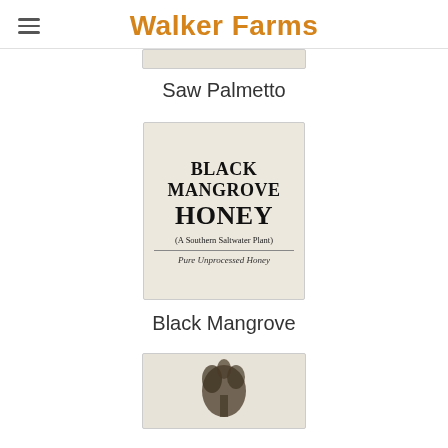Walker Farms
[Figure (photo): Saw Palmetto honey product image (cropped, partially visible at top)]
Saw Palmetto
[Figure (photo): Black Mangrove Honey label: BLACK MANGROVE HONEY (A Southern Saltwater Plant) Pure Unprocessed Honey]
Black Mangrove
[Figure (photo): Third honey product image (partially visible at bottom, shows decorative illustration)]